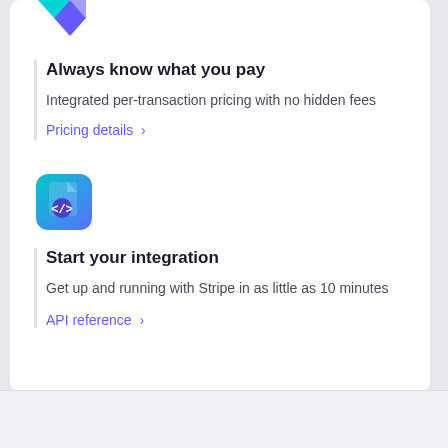[Figure (logo): Stripe diamond-shaped logo in teal and purple at top left]
Always know what you pay
Integrated per-transaction pricing with no hidden fees
Pricing details >
[Figure (logo): Stripe API/developer icon — teal and purple file icon with code brackets]
Start your integration
Get up and running with Stripe in as little as 10 minutes
API reference >
You're viewing our website for Liechtenstein, but it looks like you're in the United States.
Switch to the United States site >